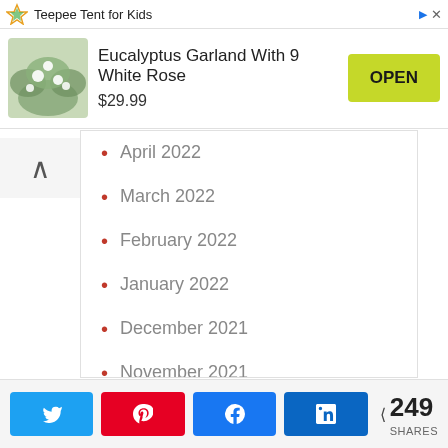Teepee Tent for Kids
Eucalyptus Garland With 9 White Rose
$29.99  OPEN
April 2022
March 2022
February 2022
January 2022
December 2021
November 2021
October 2021
September 2021
249 SHARES